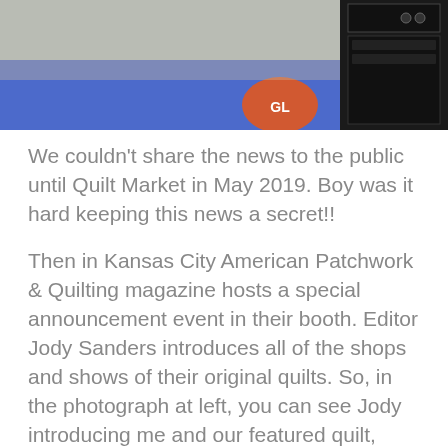[Figure (photo): Photograph of a trade show floor or event venue with blue carpet/rug, an orange circle logo, and dark audio/presentation equipment visible at the right side.]
We couldn't share the news to the public until Quilt Market in May 2019. Boy was it hard keeping this news a secret!!
Then in Kansas City American Patchwork & Quilting magazine hosts a special  announcement event in their booth. Editor Jody Sanders introduces all of the shops and shows of their original quilts. So, in the photograph at left, you can see Jody introducing me and our featured quilt, Blue Oasis.